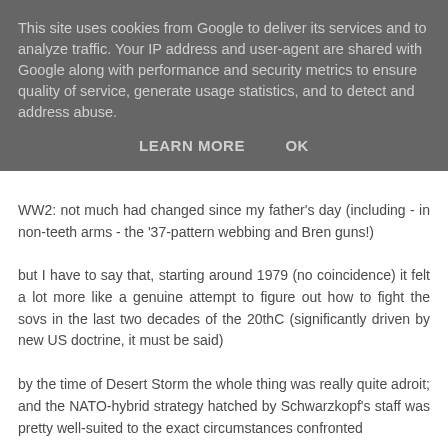This site uses cookies from Google to deliver its services and to analyze traffic. Your IP address and user-agent are shared with Google along with performance and security metrics to ensure quality of service, generate usage statistics, and to detect and address abuse.
LEARN MORE    OK
WW2: not much had changed since my father's day (including - in non-teeth arms - the '37-pattern webbing and Bren guns!)
but I have to say that, starting around 1979 (no coincidence) it felt a lot more like a genuine attempt to figure out how to fight the sovs in the last two decades of the 20thC (significantly driven by new US doctrine, it must be said)
by the time of Desert Storm the whole thing was really quite adroit; and the NATO-hybrid strategy hatched by Schwarzkopf's staff was pretty well-suited to the exact circumstances confronted